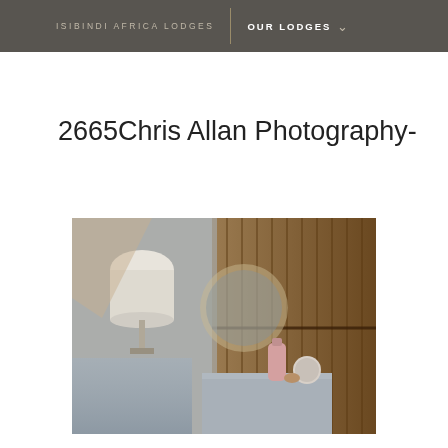ISIBINDI AFRICA LODGES | OUR LODGES
2665Chris Allan Photography-
[Figure (photo): Interior lodge room photo showing a wall-mounted lamp with white shade, a round mirror, a reed/bamboo wall panel, and a bedside table with decorative items including a pink bottle and small round container. Muted, cool-toned photograph with soft focus.]